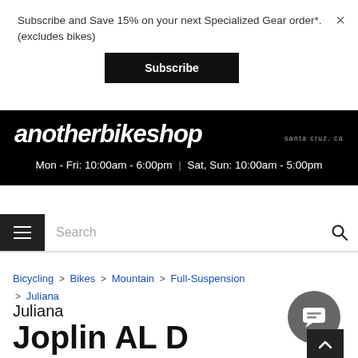Subscribe and Save 15% on your next Specialized Gear order*. (excludes bikes)
Subscribe
[Figure (logo): anotherbikeshop santa cruz, ca logo on black background]
Mon - Fri: 10:00am - 6:00pm | Sat, Sun: 10:00am - 5:00pm
Search
Bicycling > Bikes > Mountain > Full-Suspension > Juliana
Juliana Joplin AL D